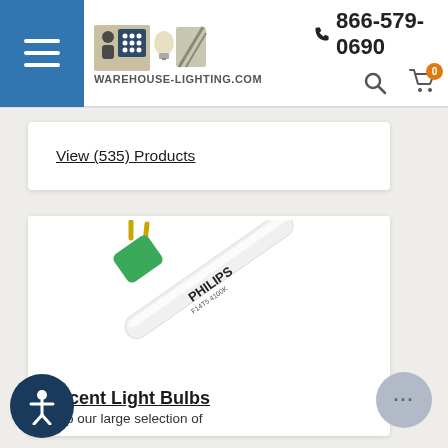WAREHOUSE-LIGHTING.COM | 866-579-0690
View (535) Products
[Figure (photo): Philips fluorescent T5 light bulb with green end cap and gold pins, angled diagonally]
rescent Light Bulbs
Shop our large selection of